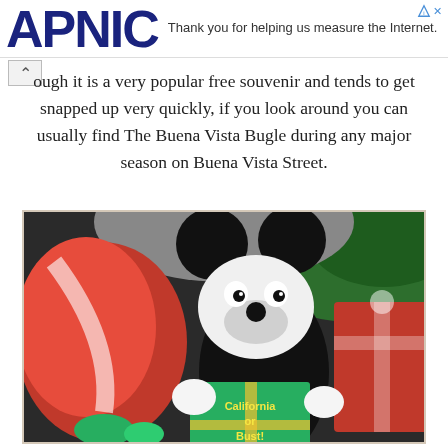APNIC — Thank you for helping us measure the Internet.
ough it is a very popular free souvenir and tends to get snapped up very quickly, if you look around you can usually find The Buena Vista Bugle during any major season on Buena Vista Street.
[Figure (photo): Photo of a Mickey Mouse figure surrounded by Christmas decorations including a large red candy cane, a green gift box labeled 'California or Bust!', and red wrapped presents, with green tree in background.]